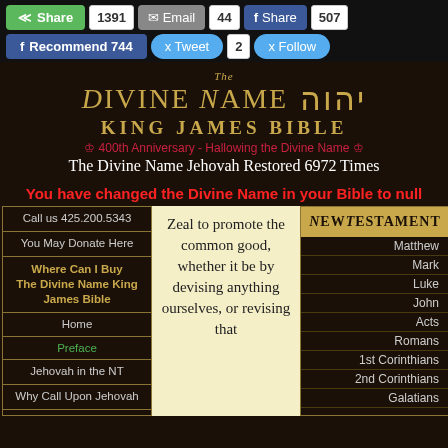Share 1391 | Email 44 | Share 507 | Recommend 744 | Tweet 2 | Follow
The Divine Name King James Bible — 400th Anniversary - Hallowing the Divine Name — The Divine Name Jehovah Restored 6972 Times
You have changed the Divine Name in your Bible to null
Call us 425.200.5343
You May Donate Here
Where Can I Buy The Divine Name King James Bible
Home
Preface
Jehovah in the NT
Why Call Upon Jehovah
About the Publishers
Zeal to promote the common good, whether it be by devising anything ourselves, or revising that which had been laboured by others
NewTestament
Matthew
Mark
Luke
John
Acts
Romans
1st Corinthians
2nd Corinthians
Galatians